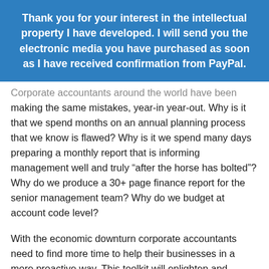Thank you for your interest in the intellectual property I have developed. I will send you the electronic media you have purchased as soon as I have received confirmation from PayPal.
Corporate accountants around the world have been making the same mistakes, year-in year-out. Why is it that we spend months on an annual planning process that we know is flawed? Why is it we spend many days preparing a monthly report that is informing management well and truly “after the horse has bolted”? Why do we produce a 30+ page finance report for the senior management team? Why do we budget at account code level?
With the economic downturn corporate accountants need to find more time to help their businesses in a more proactive way. This toolkit will enlighten and encourage controllers, CFOs, management and financial accountants to avoid these major mistakes.
This whitepaper is updated at the time of purchase